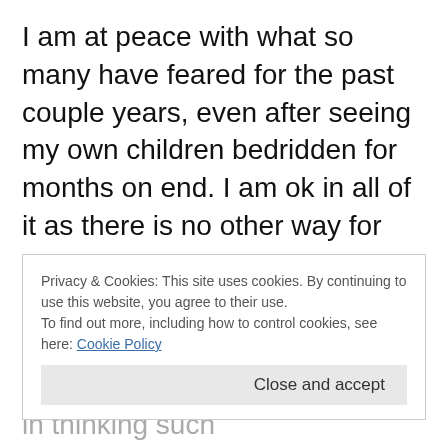I am at peace with what so many have feared for the past couple years, even after seeing my own children bedridden for months on end. I am ok in all of it as there is no other way for me anymore.
It is either or and I stand firm as just like the moment of my injury, I learned very quickly that I HAVE NO CONTROL over anything and this is ok.
It may sound kind of contradicting but we do
Privacy & Cookies: This site uses cookies. By continuing to use this website, you agree to their use.
To find out more, including how to control cookies, see here: Cookie Policy
Close and accept
if they have no control here but in thinking such